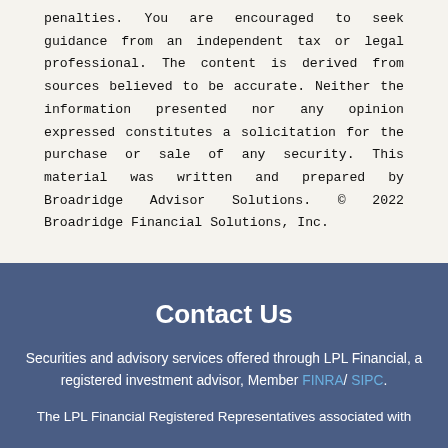penalties. You are encouraged to seek guidance from an independent tax or legal professional. The content is derived from sources believed to be accurate. Neither the information presented nor any opinion expressed constitutes a solicitation for the purchase or sale of any security. This material was written and prepared by Broadridge Advisor Solutions. © 2022 Broadridge Financial Solutions, Inc.
Contact Us
Securities and advisory services offered through LPL Financial, a registered investment advisor, Member FINRA/ SIPC.
The LPL Financial Registered Representatives associated with